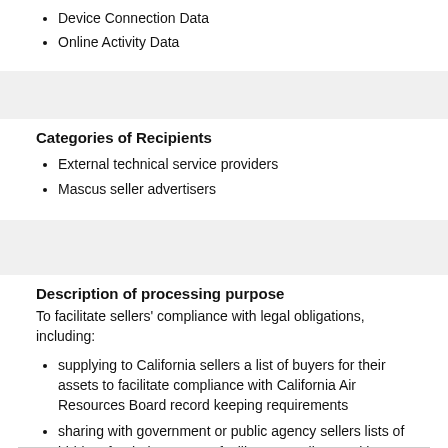Device Connection Data
Online Activity Data
Categories of Recipients
External technical service providers
Mascus seller advertisers
Description of processing purpose
To facilitate sellers' compliance with legal obligations, including:
supplying to California sellers a list of buyers for their assets to facilitate compliance with California Air Resources Board record keeping requirements
sharing with government or public agency sellers lists of bidders for their assets to facilitate compliance with federal, state or municipal bylaws, rules or policies